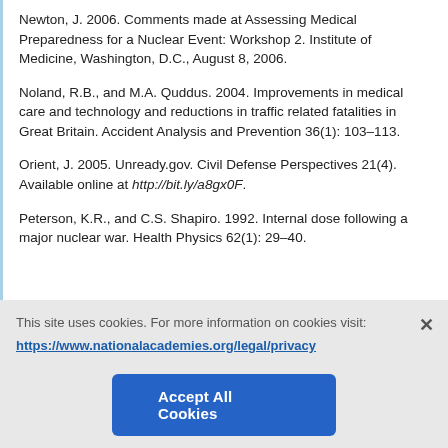Newton, J. 2006. Comments made at Assessing Medical Preparedness for a Nuclear Event: Workshop 2. Institute of Medicine, Washington, D.C., August 8, 2006.
Noland, R.B., and M.A. Quddus. 2004. Improvements in medical care and technology and reductions in traffic related fatalities in Great Britain. Accident Analysis and Prevention 36(1): 103–113.
Orient, J. 2005. Unready.gov. Civil Defense Perspectives 21(4). Available online at http://bit.ly/a8gx0F.
Peterson, K.R., and C.S. Shapiro. 1992. Internal dose following a major nuclear war. Health Physics 62(1): 29–40.
This site uses cookies. For more information on cookies visit: https://www.nationalacademies.org/legal/privacy
Accept All Cookies